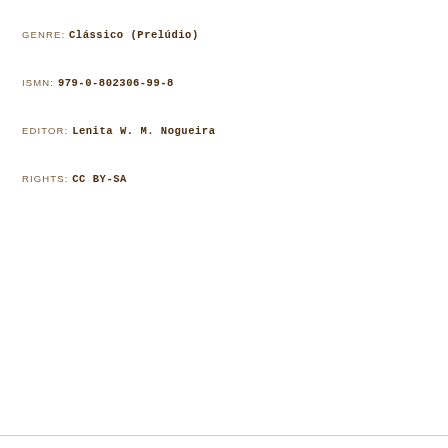GENRE: Clássico (Prelúdio)
ISMN: 979-0-802306-99-8
EDITOR: Lenita W. M. Nogueira
RIGHTS: CC BY-SA